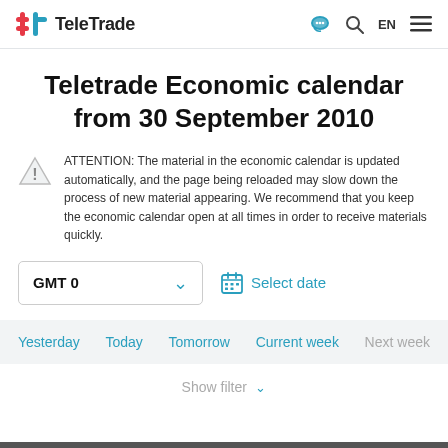TeleTrade
Teletrade Economic calendar from 30 September 2010
ATTENTION: The material in the economic calendar is updated automatically, and the page being reloaded may slow down the process of new material appearing. We recommend that you keep the economic calendar open at all times in order to receive materials quickly.
GMT 0  Select date
Yesterday  Today  Tomorrow  Current week  Next week
Show filter